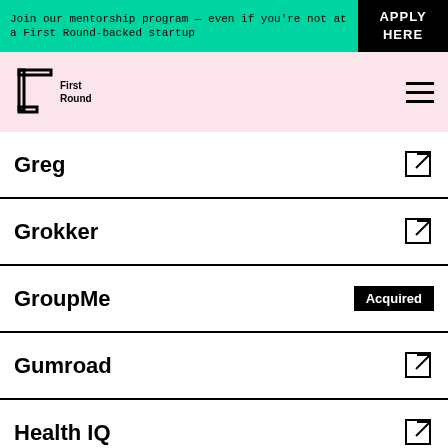Join our mentorship program — even if you're not at a First Round-backed startup
APPLY HERE
[Figure (logo): First Round logo with bracket and text]
Greg
Grokker
GroupMe — Acquired
Gumroad
Health IQ